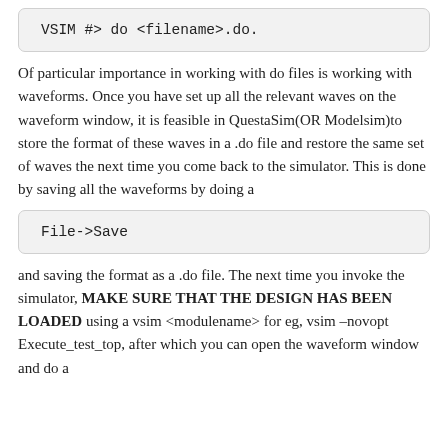[Figure (screenshot): Code block showing: VSIM #> do <filename>.do.]
Of particular importance in working with do files is working with waveforms. Once you have set up all the relevant waves on the waveform window, it is feasible in QuestaSim(OR Modelsim)to store the format of these waves in a .do file and restore the same set of waves the next time you come back to the simulator. This is done by saving all the waveforms by doing a
[Figure (screenshot): Code block showing: File->Save]
and saving the format as a .do file. The next time you invoke the simulator, MAKE SURE THAT THE DESIGN HAS BEEN LOADED using a vsim <modulename> for eg, vsim –novopt Execute_test_top, after which you can open the waveform window and do a